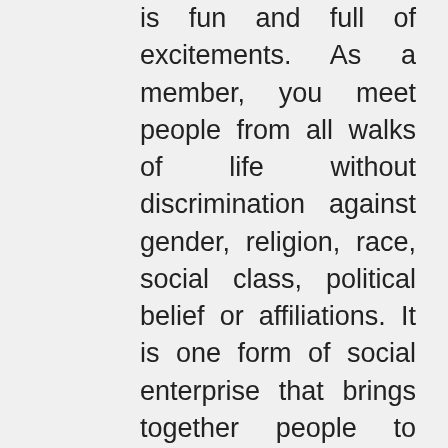is fun and full of excitements. As a member, you meet people from all walks of life without discrimination against gender, religion, race, social class, political belief or affiliations. It is one form of social enterprise that brings together people to pool their resources with the end goal of achieving a common bond of interest. 9. You cannot use the facilities until you have signed the membership agreement form, received an induction if required and made payment of the agreed sum and confirmed how you will make future payments due under the membership agreement (here). 2) Perform set up machine operations duties as required 3) Perform quality inspections of material utilizing appropriate measuring instruments track using appropriate